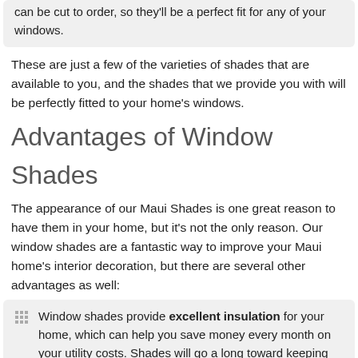can be cut to order, so they'll be a perfect fit for any of your windows.
These are just a few of the varieties of shades that are available to you, and the shades that we provide you with will be perfectly fitted to your home's windows.
Advantages of Window Shades
The appearance of our Maui Shades is one great reason to have them in your home, but it's not the only reason. Our window shades are a fantastic way to improve your Maui home's interior decoration, but there are several other advantages as well:
Window shades provide excellent insulation for your home, which can help you save money every month on your utility costs. Shades will go a long toward keeping your indoor air in and outdoor air outside.
They're available in a wide variety of different styles and designs, so you'll be able to find shades that are a perfect addition to your home.